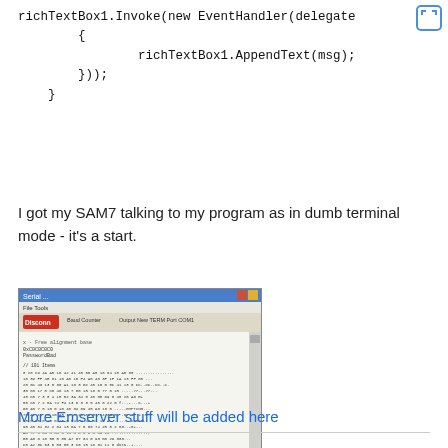richTextBox1.Invoke(new EventHandler(delegate
            {
                    richTextBox1.AppendText(msg);
            }));
        }
I got my SAM7 talking to my program as in dumb terminal mode - it's a start.
[Figure (screenshot): Screenshot of a Windows application showing hex dump data in a terminal/serial monitor window]
More Emserver stuff will be added here